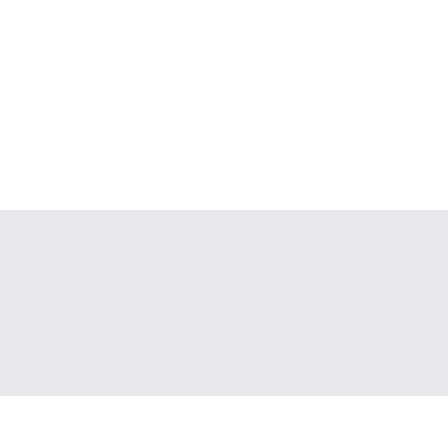10. Midnight dreary Poe
Walsh, John Eva
BR012717
1998
2 v. of press braille
Braille
11. The prince of T
Maraniss, David
BR012976
2000
3 v. of press braille
Braille
12. Charles Lindbe
Pisano, Dominic
BR014296
2002
1 v. of press braille
Braille
13.